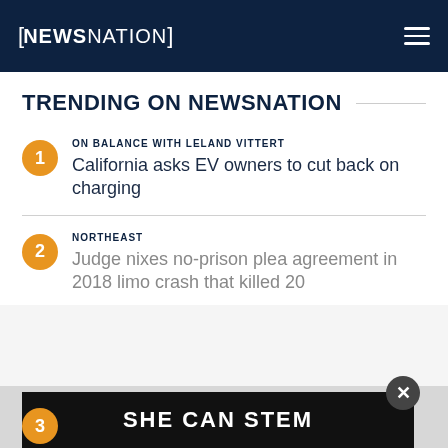NEWSNATION
TRENDING ON NEWSNATION
1 ON BALANCE WITH LELAND VITTERT — California asks EV owners to cut back on charging
2 NORTHEAST — Judge nixes no-prison plea agreement in 2018 limo crash that killed 20
[Figure (other): SHE CAN STEM advertisement banner overlay with dark background and white bold text, with a circular close/X button]